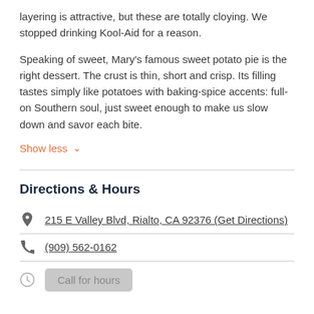layering is attractive, but these are totally cloying. We stopped drinking Kool-Aid for a reason.
Speaking of sweet, Mary's famous sweet potato pie is the right dessert. The crust is thin, short and crisp. Its filling tastes simply like potatoes with baking-spice accents: full-on Southern soul, just sweet enough to make us slow down and savor each bite.
Show less
Directions & Hours
215 E Valley Blvd, Rialto, CA 92376 (Get Directions)
(909) 562-0162
Call for hours